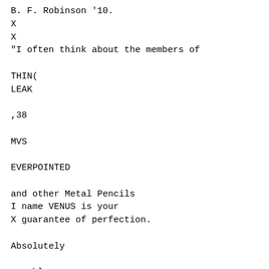B. F. Robinson '10.
X
X
"I often think about the members of

THIN(
LEAK

,38

MVS

EVERPOINTED

and other Metal Pencils
I name VENUS is your
X guarantee of perfection.

Absolutely

crumble-proo-

f,

smooth ana perfectly graded.
7 DEGREES
aB soft
B soft

SC